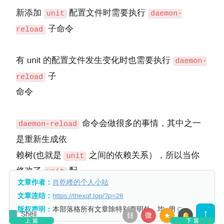新添加 unit 配置文件时需要执行 daemon-reload 子命令
有 unit 的配置文件发生变化时也需要执行 daemon-reload 子命令
daemon-reload 命令会做很多的事情，其中之一是重新生成依赖树(也就是 unit 之间的依赖关系），所以当你修改了 unit 配置文件中的依赖关系后如果不执行 daemon-reload 命令是不会生效的。
文章作者：肖乾峰的个人小站
文章连结：https://thexqf.top/?p=28
版权声明：本部落格所有文章除特别声明外，均 用 C…
Shell